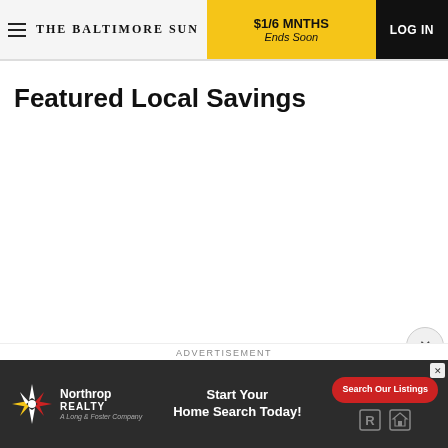THE BALTIMORE SUN | $1/6 MNTHS Ends Soon | LOG IN
Featured Local Savings
ADVERTISEMENT
[Figure (advertisement): Northrop Realty - A Long & Foster Company advertisement banner. Text: Start Your Home Search Today! with a red Search Our Listings button and realtor icons.]